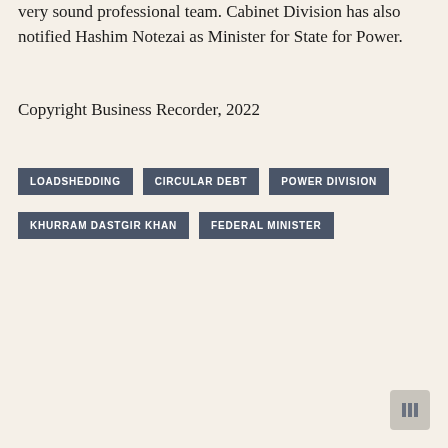very sound professional team. Cabinet Division has also notified Hashim Notezai as Minister for State for Power.
Copyright Business Recorder, 2022
LOADSHEDDING
CIRCULAR DEBT
POWER DIVISION
KHURRAM DASTGIR KHAN
FEDERAL MINISTER